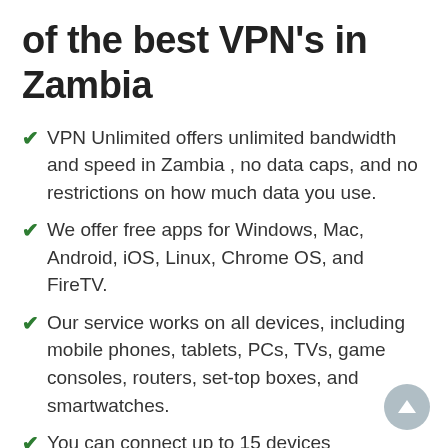of the best VPN's in Zambia
VPN Unlimited offers unlimited bandwidth and speed in Zambia , no data caps, and no restrictions on how much data you use.
We offer free apps for Windows, Mac, Android, iOS, Linux, Chrome OS, and FireTV.
Our service works on all devices, including mobile phones, tablets, PCs, TVs, game consoles, routers, set-top boxes, and smartwatches.
You can connect up to 15 devices simultaneously.